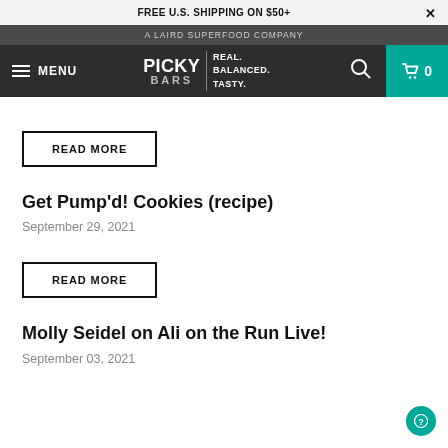FREE U.S. SHIPPING ON $50+
A LAIRD SUPERFOOD COMPANY
MENU | PICKY BARS | REAL. BALANCED. TASTY. | 0
READ MORE
Get Pump'd! Cookies (recipe)
September 29, 2021
READ MORE
Molly Seidel on Ali on the Run Live!
September 03, 2021